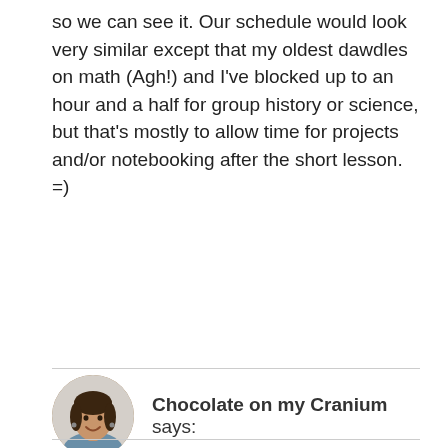so we can see it. Our schedule would look very similar except that my oldest dawdles on math (Agh!) and I've blocked up to an hour and a half for group history or science, but that's mostly to allow time for projects and/or notebooking after the short lesson. =)
[Figure (photo): Round avatar photo of a smiling woman with dark hair and earrings]
Chocolate on my Cranium says:
Short lessons make our homeschool run efficiently! People are often surprised to learn that all of my children's main school work is done by noon every day (except for the high schoolers for obvious reasons, though even then it usually is!).